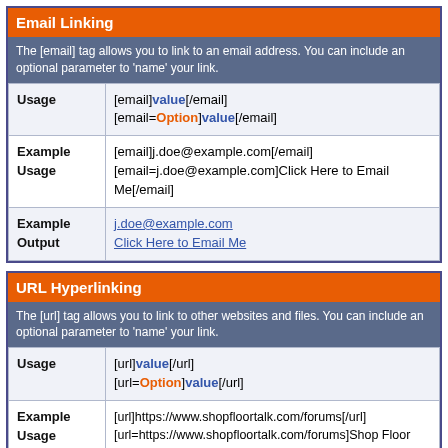| Email Linking |  |
| The [email] tag allows you to link to an email address. You can include an optional parameter to 'name' your link. |  |
| Usage | [email]value[/email]
[email=Option]value[/email] |
| Example Usage | [email]j.doe@example.com[/email]
[email=j.doe@example.com]Click Here to Email Me[/email] |
| Example Output | j.doe@example.com
Click Here to Email Me |
| URL Hyperlinking |  |
| The [url] tag allows you to link to other websites and files. You can include an optional parameter to 'name' your link. |  |
| Usage | [url]value[/url]
[url=Option]value[/url] |
| Example Usage | [url]https://www.shopfloortalk.com/forums[/url]
[url=https://www.shopfloortalk.com/forums]Shop Floor Talk[/url] |
| Example Output | https://www.shopfloortalk.com/forums
Shop Floor Talk |